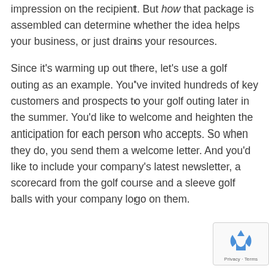impression on the recipient. But how that package is assembled can determine whether the idea helps your business, or just drains your resources.
Since it's warming up out there, let's use a golf outing as an example. You've invited hundreds of key customers and prospects to your golf outing later in the summer. You'd like to welcome and heighten the anticipation for each person who accepts. So when they do, you send them a welcome letter. And you'd like to include your company's latest newsletter, a scorecard from the golf course and a sleeve golf balls with your company logo on them.